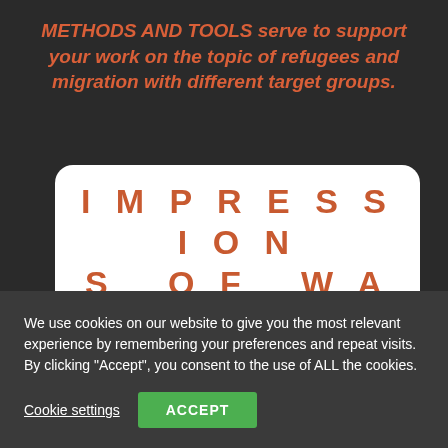METHODS AND TOOLS serve to support your work on the topic of refugees and migration with different target groups.
[Figure (other): White rounded card with bold spaced text 'IMPRESSIONS OF WAR' and subtitle 'Peace education game' in orange-red color on white background.]
We use cookies on our website to give you the most relevant experience by remembering your preferences and repeat visits. By clicking “Accept”, you consent to the use of ALL the cookies.
Cookie settings
ACCEPT